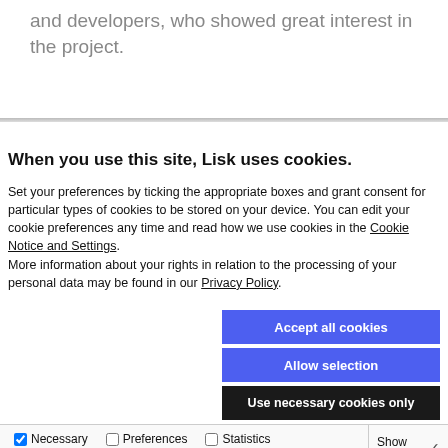and developers, who showed great interest in the project.
When you use this site, Lisk uses cookies.
Set your preferences by ticking the appropriate boxes and grant consent for particular types of cookies to be stored on your device. You can edit your cookie preferences any time and read how we use cookies in the Cookie Notice and Settings. More information about your rights in relation to the processing of your personal data may be found in our Privacy Policy.
Accept all cookies
Allow selection
Use necessary cookies only
Necessary  Preferences  Statistics  Marketing  Show details